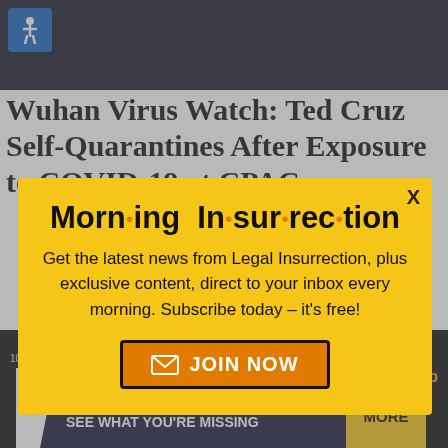[Figure (screenshot): Dark background top area showing a video or image of a government setting]
Wuhan Virus Watch: Ted Cruz Self-Quarantines After Exposure to COVID-19 at CPAC
[Figure (infographic): Morning Insurrection newsletter popup modal with yellow background. Contains logo 'Morn·ing In·sur·rec·tion', subscription text, and orange JOIN NOW button with envelope icon. Has X close button in top right.]
[Figure (screenshot): Bottom dark area showing video content with 'Back to Top' link in orange, small X close button, timestamp '10:48 PM', and bottom advertisement banner for 'The Perspective - SEE WHAT YOU'RE MISSING' with READ MORE button]